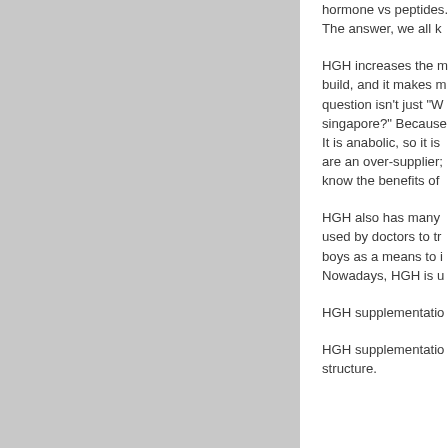[Figure (other): Gray rectangle occupying the left portion of the page]
hormone vs peptides. The answer, we all k
HGH increases the m build, and it makes m question isn't just "W singapore?" Because It is anabolic, so it is are an over-supplier; know the benefits of
HGH also has many used by doctors to tr boys as a means to i Nowadays, HGH is u
HGH supplementatio
HGH supplementatio structure.